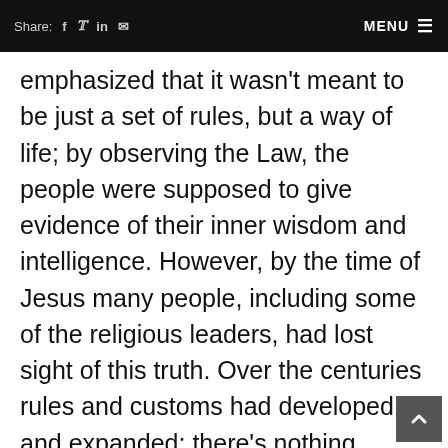Share: f  in  [mail]   MENU ≡
emphasized that it wasn't meant to be just a set of rules, but a way of life; by observing the Law, the people were supposed to give evidence of their inner wisdom and intelligence. However, by the time of Jesus many people, including some of the religious leaders, had lost sight of this truth. Over the centuries rules and customs had developed and expanded; there's nothing necessarily wrong with this—but the problem was that, in many cases, these human traditions had